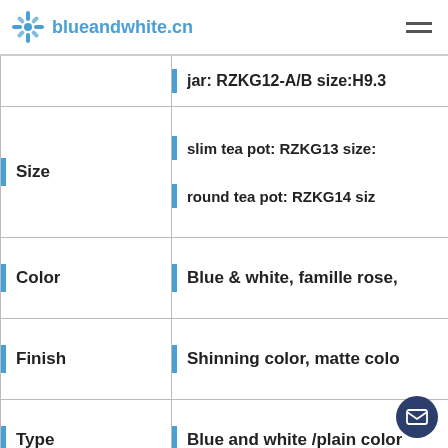blueandwhite.cn
|  |  |
| --- | --- |
| Size | jar: RZKG12-A/B size:H9.3
slim tea pot: RZKG13 size:
round tea pot: RZKG14 siz |
| Color | Blue & white, famille rose, |
| Finish | Shinning color, matte colo |
| Type | Blue and white /plain color |